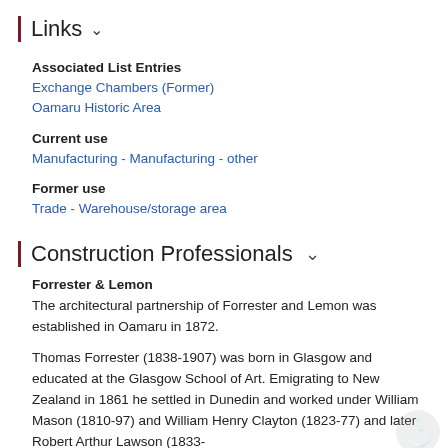Links ∨
Associated List Entries
Exchange Chambers (Former)
Oamaru Historic Area
Current use
Manufacturing - Manufacturing - other
Former use
Trade - Warehouse/storage area
Construction Professionals ∨
Forrester & Lemon
The architectural partnership of Forrester and Lemon was established in Oamaru in 1872.
Thomas Forrester (1838-1907) was born in Glasgow and educated at the Glasgow School of Art. Emigrating to New Zealand in 1861 he settled in Dunedin and worked under William Mason (1810-97) and William Henry Clayton (1823-77) and later Robert Arthur Lawson (1833-1902). In 1867 he was appointed at the Dunedin Exhibition and Awar...